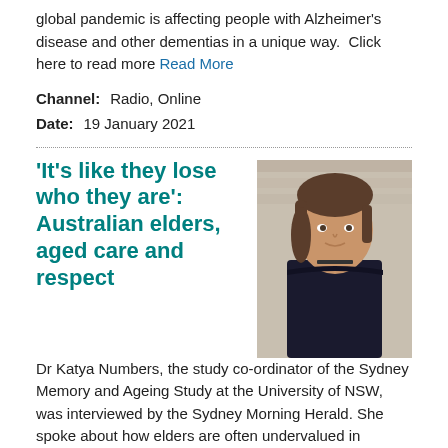global pandemic is affecting people with Alzheimer's disease and other dementias in a unique way.  Click here to read more Read More
Channel: Radio, Online
Date: 19 January 2021
'It's like they lose who they are': Australian elders, aged care and respect
[Figure (photo): Portrait photo of Dr Katya Numbers, a woman with shoulder-length brown hair wearing a dark sleeveless top, photographed against a stone wall background.]
Dr Katya Numbers, the study co-ordinator of the Sydney Memory and Ageing Study at the University of NSW, was interviewed by the Sydney Morning Herald. She spoke about how elders are often undervalued in modern Western societies. Read More
Channel: Print, Online
Date: 19 January 2021
Alcohol and your Brain
[Figure (photo): Partial image appearing to show a close-up photo related to the Alcohol and your Brain article, partially cut off at the bottom of the page.]